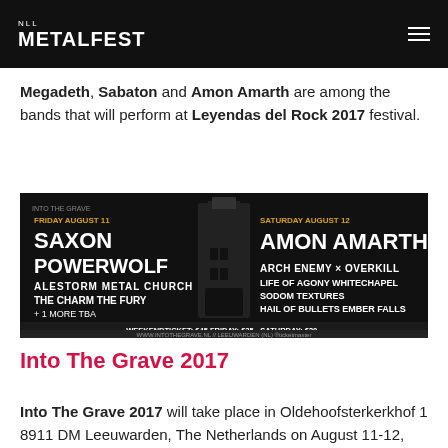NLL METALFEST
Megadeth, Sabaton and Amon Amarth are among the bands that will perform at Leyendas del Rock 2017 festival.
[Figure (illustration): Into The Grave 2017 festival poster. Friday August 11: Saxon, Powerwolf, Alestorm, Metal Church, The Charm The Fury, +1 More TBA. Saturday August 12: Amon Amarth, Arch Enemy x Overkill, Life of Agony, Whitechapel, Sodom, Textures, Hail of Bullets, Ember Falls. Weekendticket: €45, Friday: €25,-, Saturday: €30,-. www.intothegrave.nl // Leeuwarden (NL)]
Into The Grave 2017
Into The Grave 2017 will take place in Oldehoofsterkerkhof 1 8911 DM Leeuwarden, The Netherlands on August 11-12, 2017.